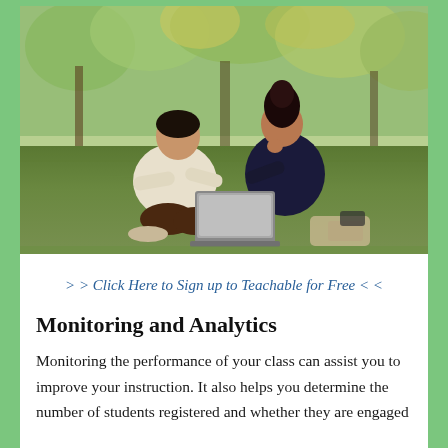[Figure (photo): Two students, one in a cream/white sweater and one in a dark navy top, sitting on green grass in a park, looking at a laptop together. Trees with green and yellow foliage visible in background.]
> > Click Here to Sign up to Teachable for Free < <
Monitoring and Analytics
Monitoring the performance of your class can assist you to improve your instruction. It also helps you determine the number of students registered and whether they are engaged